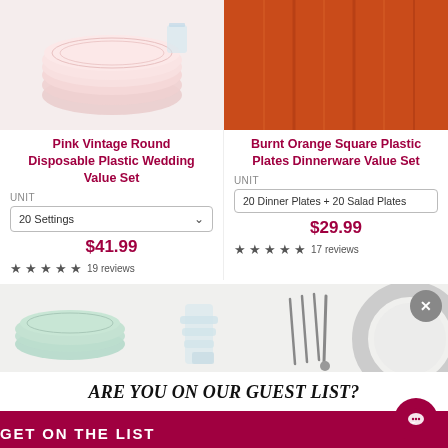[Figure (photo): Pink vintage round disposable plastic plates, stacked, light pink background]
[Figure (photo): Burnt orange square plastic plates, orange background]
Pink Vintage Round Disposable Plastic Wedding Value Set
UNIT
20 Settings
$41.99
19 reviews
Burnt Orange Square Plastic Plates Dinnerware Value Set
UNIT
20 Dinner Plates + 20 Salad Plates
$29.99
17 reviews
[Figure (photo): Bottom banner showing mint green plates, stacked clear glasses, and silverware cutlery on white background]
ARE YOU ON OUR GUEST LIST?
GET ON THE LIST